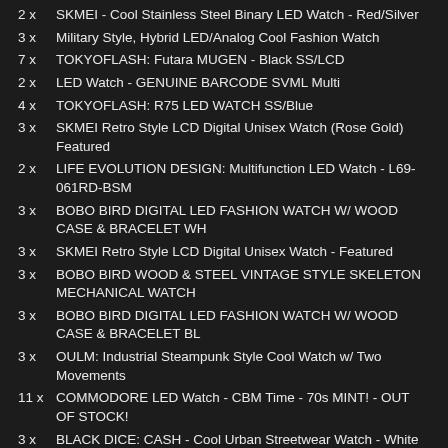2 x  SKMEI - Cool Stainless Steel Binary LED Watch - Red/Silver
3 x  Military Style, Hybrid LED/Analog Cool Fashion Watch
7 x  TOKYOFLASH: Futara MUGEN - Black SS/LCD
2 x  LED Watch - GENUINE BARCODE SVML Multi
4 x  TOKYOFLASH: R75 LED WATCH SS/Blue
3 x  SKMEI Retro Style LCD Digital Unisex Watch (Rose Gold) Featured
2 x  LIFE EVOLUTION DESIGN: Multifunction LED Watch - L69-061RD-BSM
3 x  BOBO BIRD DIGITAL LED FASHION WATCH W/ WOOD CASE & BRACELET WH
3 x  SKMEI Retro Style LCD Digital Unisex Watch - Featured
3 x  BOBO BIRD WOOD & STEEL VINTAGE STYLE SKELETON MECHANICAL WATCH
3 x  BOBO BIRD DIGITAL LED FASHION WATCH W/ WOOD CASE & BRACELET BL
3 x  OULM: Industrial Steampunk Style Cool Watch w/ Two Movements
11 x  COMMODORE LED Watch - CBM Time - 70s MINT! - OUT OF STOCK!
3 x  BLACK DICE: CASH - Cool Urban Streetwear Watch - White